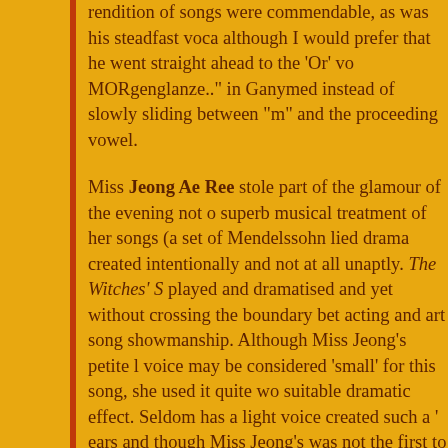rendition of songs were commendable, as was his steadfast voca although I would prefer that he went straight ahead to the 'Or' vo MORgenglanze.." in Ganymed instead of slowly sliding between "m" and the proceeding vowel.
Miss Jeong Ae Ree stole part of the glamour of the evening not o superb musical treatment of her songs (a set of Mendelssohn lied drama created intentionally and not at all unaptly. The Witches' S played and dramatised and yet without crossing the boundary bet acting and art song showmanship. Although Miss Jeong's petite l voice may be considered 'small' for this song, she used it quite wo suitable dramatic effect. Seldom has a light voice created such a ' ears and though Miss Jeong's was not the first to do that, my ears 'ringing' amidst her solos and her singing in the quartet ( FYI,the the first.). Mr. Shane Thio and Dr. Hyeu played with much music sensuality in their collaboration with the lovely singers.
Indeed, I was very pleased to have participated as part of the audi walked down the treacherous steps proceeding away from SOTA had to dig up my old german song cds and revisit the charming e Liederlieder.